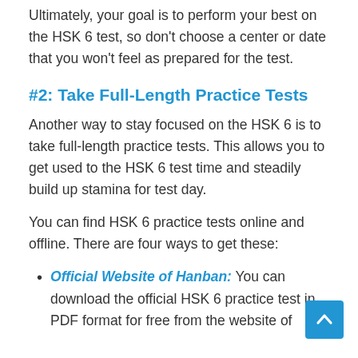Ultimately, your goal is to perform your best on the HSK 6 test, so don’t choose a center or date that you won’t feel as prepared for the test.
#2: Take Full-Length Practice Tests
Another way to stay focused on the HSK 6 is to take full-length practice tests. This allows you to get used to the HSK 6 test time and steadily build up stamina for test day.
You can find HSK 6 practice tests online and offline. There are four ways to get these:
Official Website of Hanban: You can download the official HSK 6 practice test in PDF format for free from the website of